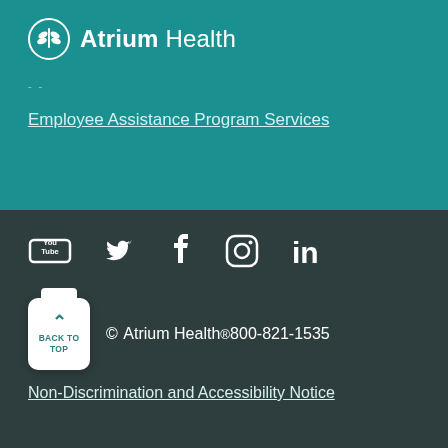[Figure (logo): Atrium Health logo with white circular leaf emblem and text 'Atrium Health']
Employee Assistance Program Services
[Figure (infographic): Social media icons: YouTube, Twitter, Facebook, Instagram, LinkedIn]
© Atrium Health® 800-821-1535
Non-Discrimination and Accessibility Notice